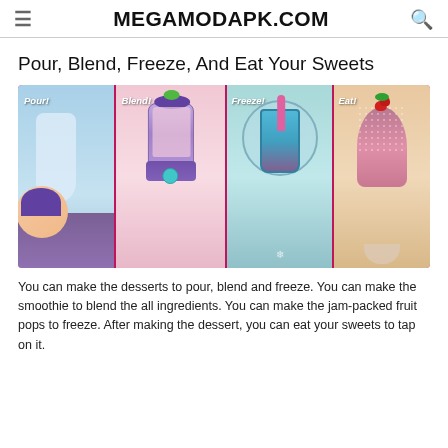MEGAMODAPK.COM
Pour, Blend, Freeze, And Eat Your Sweets
[Figure (screenshot): Game screenshot showing four panels labeled Pour!, Blend!, Freeze!, and Eat! with colorful cartoon dessert making steps on a pink background]
You can make the desserts to pour, blend and freeze. You can make the smoothie to blend the all ingredients. You can make the jam-packed fruit pops to freeze. After making the dessert, you can eat your sweets to tap on it.